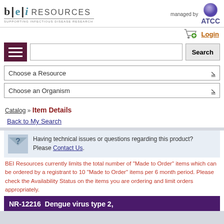[Figure (logo): BEI Resources logo with 'b|e|i RESOURCES' text and 'SUPPORTING INFECTIOUS DISEASE RESEARCH' subtitle. Managed by ATCC logo on the right.]
[Figure (screenshot): Shopping cart icon with green plus button and Login link]
[Figure (screenshot): Navigation bar with hamburger menu button, search input field, and Search button]
[Figure (screenshot): Choose a Resource dropdown selector]
[Figure (screenshot): Choose an Organism dropdown selector]
Catalog » Item Details
Back to My Search
Having technical issues or questions regarding this product?
Please Contact Us.
BEI Resources currently limits the total number of "Made to Order" items which can be ordered by a registrant to 10 "Made to Order" items per 6 month period. Please check the Availability Status on the items you are ordering and limit orders appropriately.
NR-12216  Dengue virus type 2,